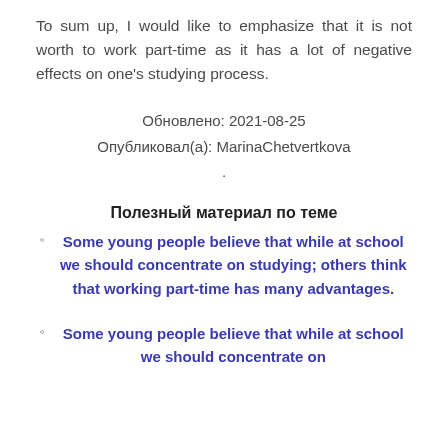To sum up, I would like to emphasize that it is not worth to work part-time as it has a lot of negative effects on one's studying process.
Обновлено: 2021-08-25
Опубликовал(а): MarinaChetvertkova
.
Полезный материал по теме
Some young people believe that while at school we should concentrate on studying; others think that working part-time has many advantages.
Some young people believe that while at school we should concentrate on